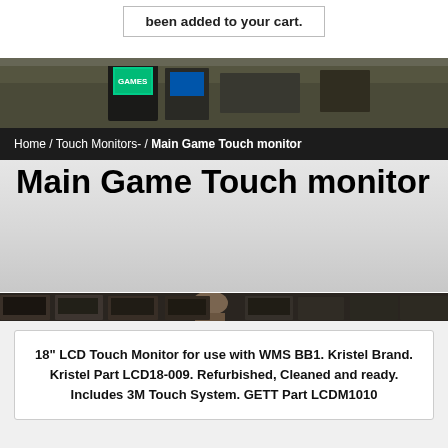been added to your cart.
[Figure (photo): Arcade gaming machines in a dimly lit room with neon-lit displays]
Home / Touch Monitors- / Main Game Touch monitor
Main Game Touch monitor
[Figure (photo): Row of gaming/slot machines in a casino environment]
18" LCD Touch Monitor for use with WMS BB1. Kristel Brand. Kristel Part LCD18-009. Refurbished, Cleaned and ready. Includes 3M Touch System. GETT Part LCDM1010